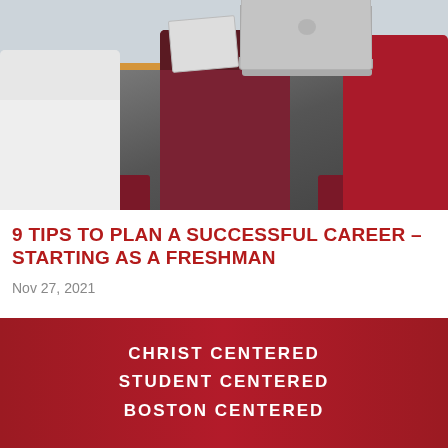[Figure (photo): Students sitting around a table with laptops and tablets in a classroom or library setting]
9 TIPS TO PLAN A SUCCESSFUL CAREER – STARTING AS A FRESHMAN
Nov 27, 2021
CHRIST CENTERED
STUDENT CENTERED
BOSTON CENTERED
REQUEST INFO   ASK A COUNSELOR   VISIT   APPLY